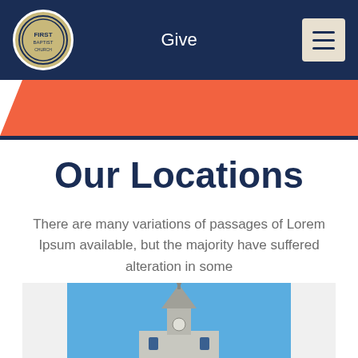Give
Our Locations
There are many variations of passages of Lorem Ipsum available, but the majority have suffered alteration in some
[Figure (photo): Photo of a church steeple against a blue sky]